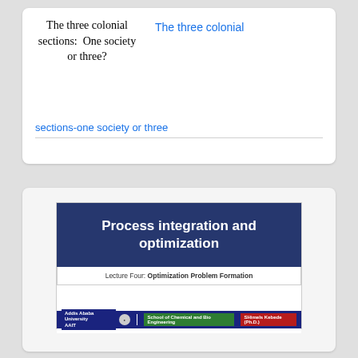The three colonial sections:  One society or three?
The three colonial
sections-one society or three
[Figure (screenshot): Slide thumbnail showing 'Process integration and optimization' with subtitle 'Lecture Four: Optimization Problem Formation' and footer bar with Addis Ababa University AAIT, School of Chemical and Bio Engineering, SHimels Kebede (Ph.D.)]